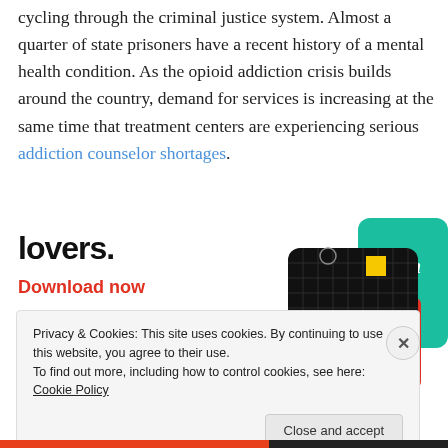cycling through the criminal justice system. Almost a quarter of state prisoners have a recent history of a mental health condition. As the opioid addiction crisis builds around the country, demand for services is increasing at the same time that treatment centers are experiencing serious addiction counselor shortages.
[Figure (other): Advertisement banner showing partial text 'lovers.' in bold, 'Download now' in red, and a 99% Invisible podcast app promotional graphic showing app cards on a dark background.]
Privacy & Cookies: This site uses cookies. By continuing to use this website, you agree to their use. To find out more, including how to control cookies, see here: Cookie Policy
Close and accept